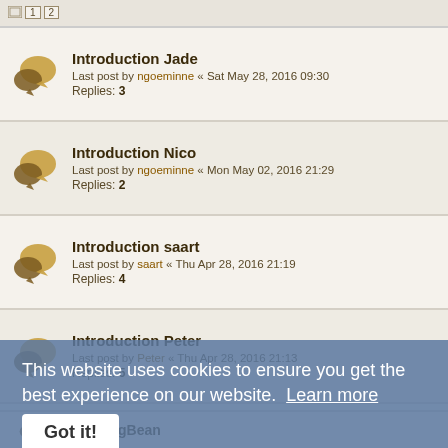Introduction Jade
Last post by ngoeminne « Sat May 28, 2016 09:30
Replies: 3
Introduction Nico
Last post by ngoeminne « Mon May 02, 2016 21:29
Replies: 2
Introduction saart
Last post by saart « Thu Apr 28, 2016 21:19
Replies: 4
Introduction Peter
Last post by Peter « Thu Apr 28, 2016 21:13
Replies: 5
Introduction James J. Angel
Last post by ngoeminne « Thu Apr 28, 2016 14:07
misc. rules questions & resources
Last post by snowdrop « Apr 28, 2016 08:25
Replies: 5
This website uses cookies to ensure you get the best experience on our website. Learn more
DireMungBean